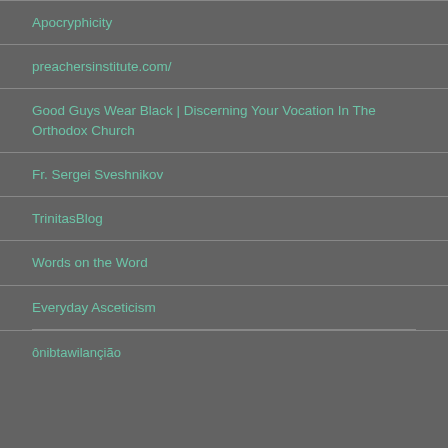Apocryphicity
preachersinstitute.com/
Good Guys Wear Black | Discerning Your Vocation In The Orthodox Church
Fr. Sergei Sveshnikov
TrinitasBlog
Words on the Word
Everyday Asceticism
…